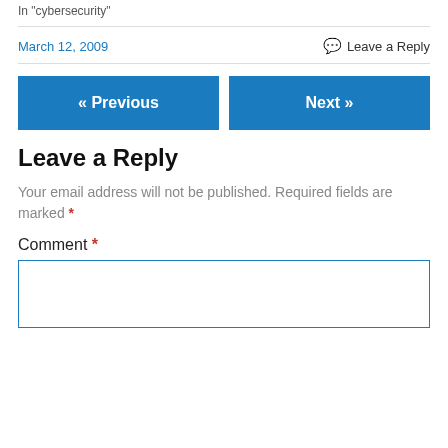In "cybersecurity"
March 12, 2009   Leave a Reply
« Previous   Next »
Leave a Reply
Your email address will not be published. Required fields are marked *
Comment *